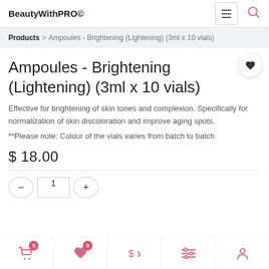BeautyWithPRO©
Products > Ampoules - Brightening (Lightening) (3ml x 10 vials)
Ampoules - Brightening (Lightening) (3ml x 10 vials)
Effective for brightening of skin tones and complexion. Specifically for normalization of skin discoloration and improve aging spots.
**Please note: Colour of the vials varies from batch to batch
$ 18.00